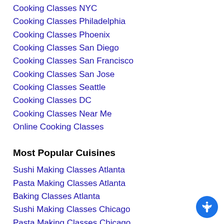Cooking Classes NYC
Cooking Classes Philadelphia
Cooking Classes Phoenix
Cooking Classes San Diego
Cooking Classes San Francisco
Cooking Classes San Jose
Cooking Classes Seattle
Cooking Classes DC
Cooking Classes Near Me
Online Cooking Classes
Most Popular Cuisines
Sushi Making Classes Atlanta
Pasta Making Classes Atlanta
Baking Classes Atlanta
Sushi Making Classes Chicago
Pasta Making Classes Chicago
Baking Classes Chicago